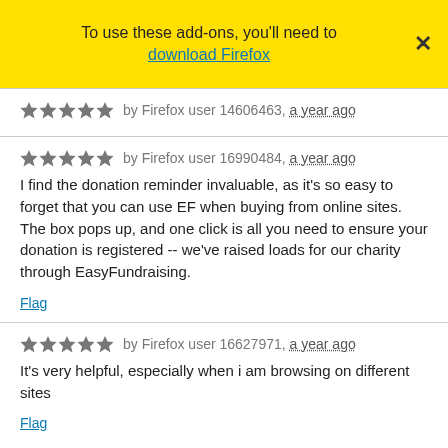To use these add-ons, you'll need to download Firefox
★★★★★ by Firefox user 14606463, a year ago
★★★★★ by Firefox user 16990484, a year ago
I find the donation reminder invaluable, as it's so easy to forget that you can use EF when buying from online sites. The box pops up, and one click is all you need to ensure your donation is registered -- we've raised loads for our charity through EasyFundraising.
Flag
★★★★★ by Firefox user 16627971, a year ago
It's very helpful, especially when i am browsing on different sites
Flag